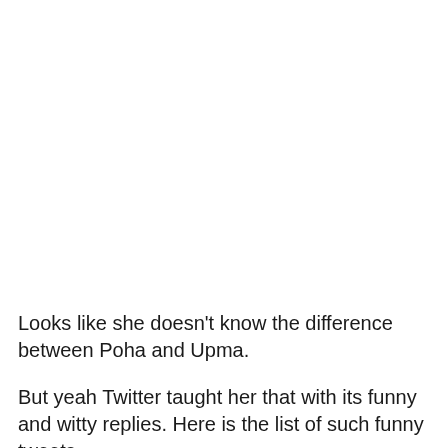Looks like she doesn’t know the difference between Poha and Upma.
But yeah Twitter taught her that with its funny and witty replies. Here is the list of such funny tweets –
[Figure (screenshot): Tweet by Azmi Shabana (@AzmiShabana), verified account, dated Oct 9, 2017, with Follow link. Tweet text: 'Upma cooked by Ketki for breakfast in Florence!Thats what u expect was the demand of the guiju ladies im']